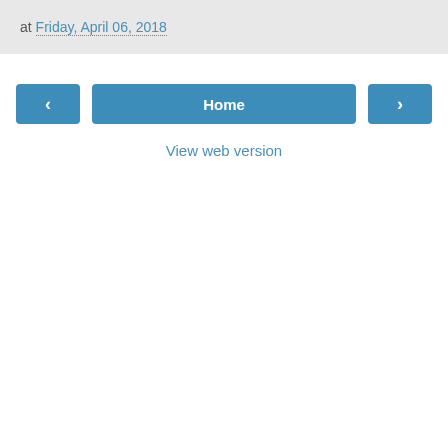at Friday, April 06, 2018
‹
Home
›
View web version